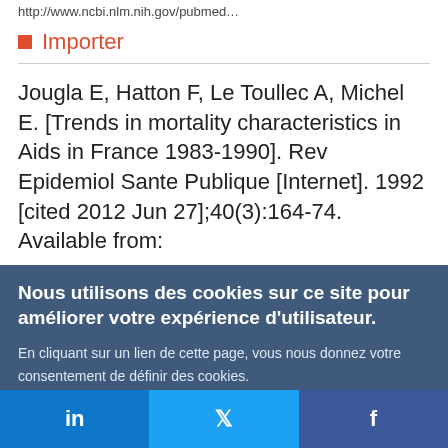http://www.ncbi.nlm.nih.gov/pubmed…
Importer
Jougla E, Hatton F, Le Toullec A, Michel E. [Trends in mortality characteristics in Aids in France 1983-1990]. Rev Epidemiol Sante Publique [Internet]. 1992 [cited 2012 Jun 27];40(3):164-74. Available from:
Nous utilisons des cookies sur ce site pour améliorer votre expérience d'utilisateur.

En cliquant sur un lien de cette page, vous nous donnez votre consentement de définir des cookies.

Oui, je suis d'accord | Plus d'infos
in  f